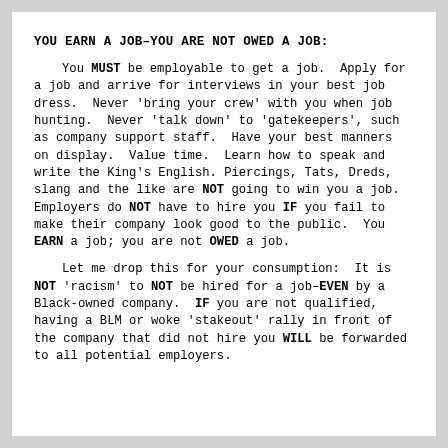YOU EARN A JOB–YOU ARE NOT OWED A JOB:
You MUST be employable to get a job. Apply for a job and arrive for interviews in your best job dress. Never 'bring your crew' with you when job hunting. Never 'talk down' to 'gatekeepers', such as company support staff. Have your best manners on display. Value time. Learn how to speak and write the King's English. Piercings, Tats, Dreds, slang and the like are NOT going to win you a job. Employers do NOT have to hire you IF you fail to make their company look good to the public. You EARN a job; you are not OWED a job.
Let me drop this for your consumption: It is NOT 'racism' to NOT be hired for a job–EVEN by a Black-owned company. IF you are not qualified, having a BLM or woke 'stakeout' rally in front of the company that did not hire you WILL be forwarded to all potential employers.